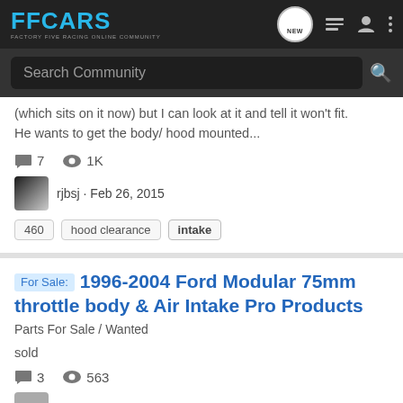FFCARS — Factory Five Racing Online Community
(which sits on it now) but I can look at it and tell it won't fit. He wants to get the body/ hood mounted...
7 comments · 1K views · rjbsj · Feb 26, 2015 · Tags: 460, hood clearance, intake
For Sale: 1996-2004 Ford Modular 75mm throttle body & Air Intake Pro Products
Parts For Sale / Wanted
sold
3 comments · 563 views · bucketlist · Jun 7, 2013